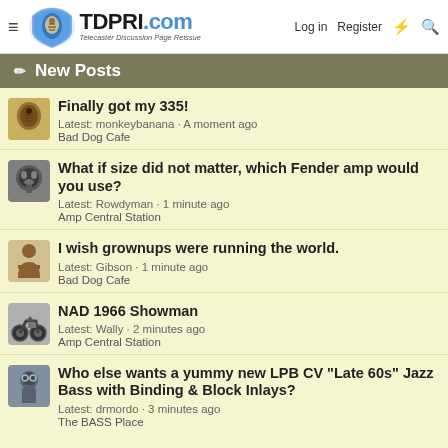TDPRI.com Telecaster Discussion Page Reissue — Log in | Register
New Posts
Finally got my 335!
Latest: monkeybanana · A moment ago
Bad Dog Cafe
What if size did not matter, which Fender amp would you use?
Latest: Rowdyman · 1 minute ago
Amp Central Station
I wish grownups were running the world.
Latest: Gibson · 1 minute ago
Bad Dog Cafe
NAD 1966 Showman
Latest: Wally · 2 minutes ago
Amp Central Station
Who else wants a yummy new LPB CV "Late 60s" Jazz Bass with Binding & Block Inlays?
Latest: drmordo · 3 minutes ago
The BASS Place